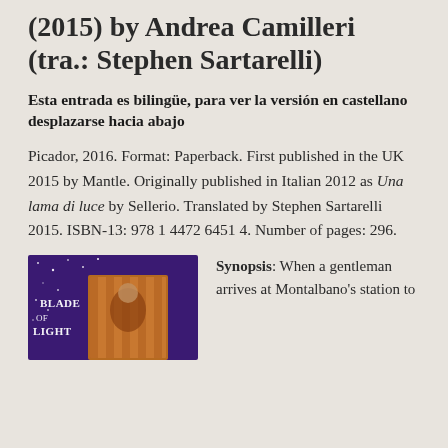(2015) by Andrea Camilleri (tra.: Stephen Sartarelli)
Esta entrada es bilingüe, para ver la versión en castellano desplazarse hacia abajo
Picador, 2016. Format: Paperback. First published in the UK 2015 by Mantle. Originally published in Italian 2012 as Una lama di luce by Sellerio. Translated by Stephen Sartarelli 2015. ISBN-13: 978 1 4472 6451 4. Number of pages: 296.
[Figure (illustration): Book cover of 'Blade of Light' showing text 'BLADE OF LIGHT' on a dark purple and orange background with decorative illustration]
Synopsis: When a gentleman arrives at Montalbano's station to